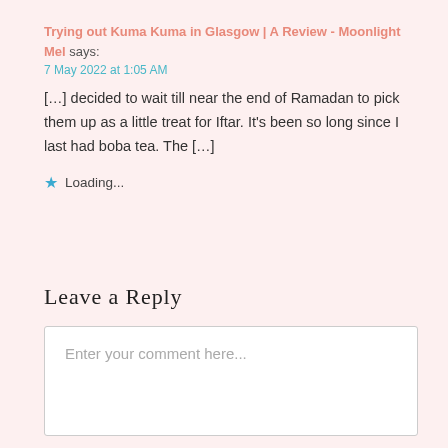Trying out Kuma Kuma in Glasgow | A Review - Moonlight Mel says:
7 May 2022 at 1:05 AM
[…] decided to wait till near the end of Ramadan to pick them up as a little treat for Iftar. It's been so long since I last had boba tea. The […]
Loading...
Leave a Reply
Enter your comment here...